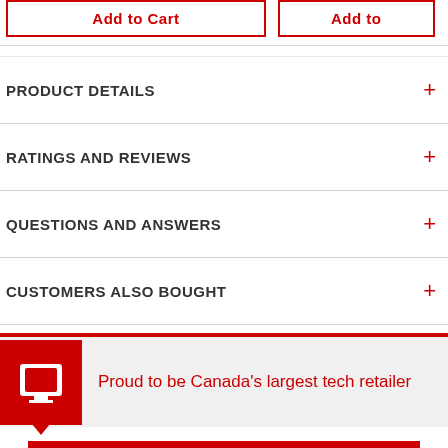Add to Cart (top left button, partial) | Add to (top right, partial)
PRODUCT DETAILS +
RATINGS AND REVIEWS +
QUESTIONS AND ANSWERS +
CUSTOMERS ALSO BOUGHT +
[Figure (logo): Canada's largest tech retailer logo - red square with white speech bubble / TV screen icon, with a triangular pointer below]
Proud to be Canada's largest tech retailer
Add to Cart (bottom button)